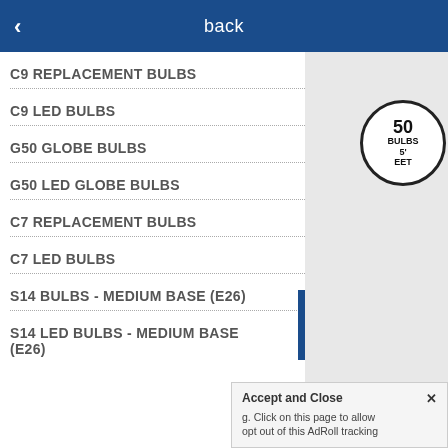back
C9 REPLACEMENT BULBS
C9 LED BULBS
G50 GLOBE BULBS
G50 LED GLOBE BULBS
C7 REPLACEMENT BULBS
C7 LED BULBS
S14 BULBS - MEDIUM BASE (E26)
S14 LED BULBS - MEDIUM BASE (E26)
[Figure (other): Product badge circle showing '50 BULBS 5' EET']
Accept and Close ×
g. Click on this page to allow
opt out of this AdRoll tracking